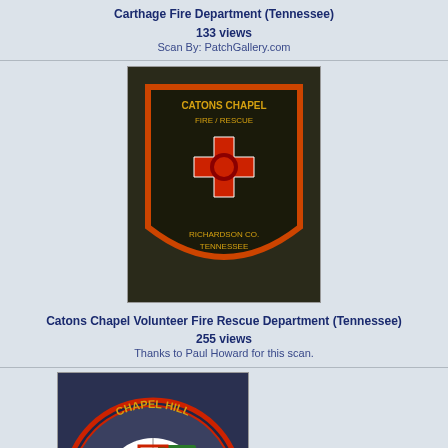Carthage Fire Department (Tennessee)
133 views
Scan By: PatchGallery.com
[Figure (photo): Catons Chapel Fire/Rescue Department patch - dark background with Maltese cross, Richardson Co., Tennessee]
Catons Chapel Volunteer Fire Rescue Department (Tennessee)
255 views
Thanks to Paul Howard for this scan.
[Figure (photo): Chapel Hill Fire Dept patch - circular badge with Maltese cross, scenes of fire vehicles, blue and red]
Chapel Hill Fire Dept
313 views
Thanks to Brent Kimberland for this scan.
[Figure (photo): Chattanooga Airport Fire Police patch - circular, dark with airplane and landscape]